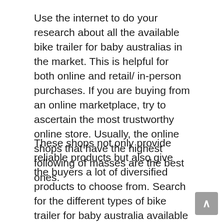Use the internet to do your research about all the available bike trailer for baby australias in the market. This is helpful for both online and retail/ in-person purchases. If you are buying from an online marketplace, try to ascertain the most trustworthy online store. Usually, the online shops that have the highest following of masses are the best ones.
These shops not only provide reliable products but also give the buyers a lot of diversified products to choose from. Search for the different types of bike trailer for baby australia available in the online store and find ones to choose from.